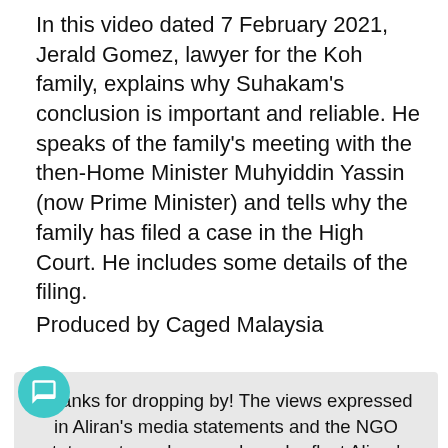In this video dated 7 February 2021, Jerald Gomez, lawyer for the Koh family, explains why Suhakam's conclusion is important and reliable. He speaks of the family's meeting with the then-Home Minister Muhyiddin Yassin (now Prime Minister) and tells why the family has filed a case in the High Court. He includes some details of the filing.
Produced by Caged Malaysia
Thanks for dropping by! The views expressed in Aliran's media statements and the NGO statements we have endorsed reflect Aliran's official stand. Views and opinions expressed in other pieces published here do not necessarily reflect Aliran's official position.